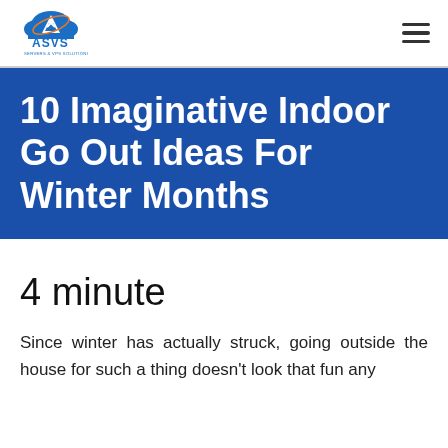ASVS
10 Imaginative Indoor Go Out Ideas For Winter Months
4 minute
Since winter has actually struck, going outside the house for such a thing doesn't look that fun any